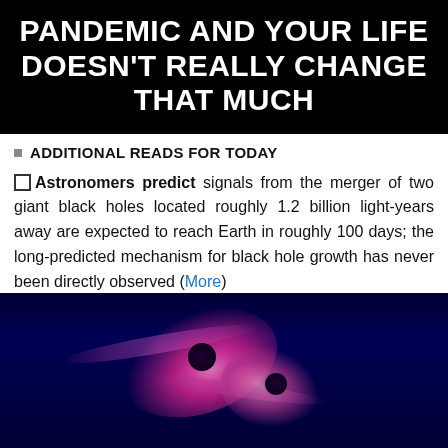PANDEMIC AND YOUR LIFE DOESN'T REALLY CHANGE THAT MUCH
ADDITIONAL READS FOR TODAY
☐ Astronomers predict signals from the merger of two giant black holes located roughly 1.2 billion light-years away are expected to reach Earth in roughly 100 days; the long-predicted mechanism for black hole growth has never been directly observed (More)
[Figure (photo): False-color simulation image of two merging black holes with accretion disks, shown in shades of deep blue, purple, and pink/magenta against a dark background]